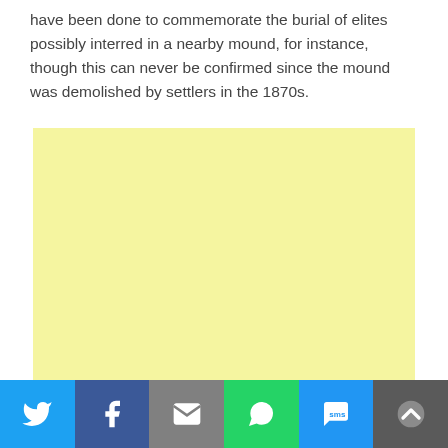have been done to commemorate the burial of elites possibly interred in a nearby mound, for instance, though this can never be confirmed since the mound was demolished by settlers in the 1870s.
[Figure (other): Yellow-tinted advertisement block placeholder (light yellow rectangle)]
Social share bar: Twitter, Facebook, Email, WhatsApp, SMS, Back to top